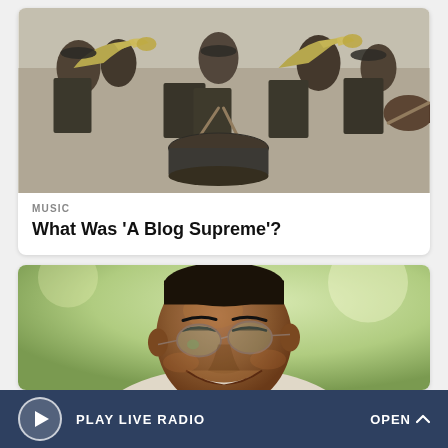[Figure (photo): A marching band playing trumpets and drums at an outdoor event, performers wearing dark suits and white shirts]
MUSIC
What Was ‘A Blog Supreme’?
[Figure (photo): Close-up portrait of a smiling man wearing rimless glasses and a light jacket, outdoors with blurred green background]
PLAY LIVE RADIO   OPEN ^